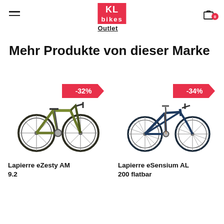KL bikes Outlet — navigation header with hamburger menu, logo, and cart icon
Mehr Produkte von dieser Marke
[Figure (photo): Green electric mountain bike (Lapierre eZesty AM 9.2) with -32% discount badge]
Lapierre eZesty AM 9.2
[Figure (photo): Dark blue electric road/flat-bar bike (Lapierre eSensium AL 200 flatbar) with -34% discount badge]
Lapierre eSensium AL 200 flatbar